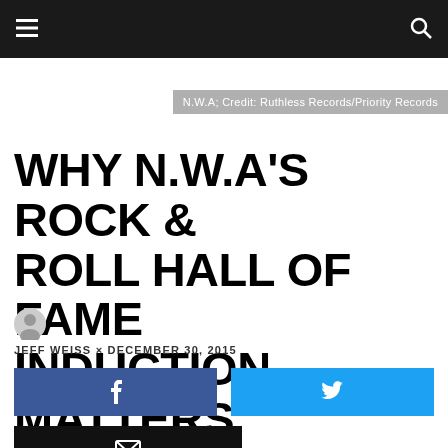Navigation bar with menu and search icons
N.W.A; Credit: Ruthless Records/Priority Records
WHY N.W.A'S ROCK & ROLL HALL OF FAME INDUCTION MATTERS
JEFF WEISS × DECEMBER 30, 2015